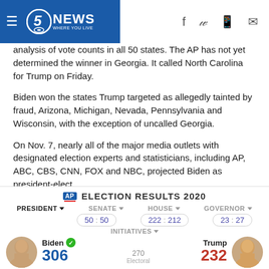5 NEWS WHERE YOU LIVE
analysis of vote counts in all 50 states. The AP has not yet determined the winner in Georgia. It called North Carolina for Trump on Friday.
Biden won the states Trump targeted as allegedly tainted by fraud, Arizona, Michigan, Nevada, Pennsylvania and Wisconsin, with the exception of uncalled Georgia.
On Nov. 7, nearly all of the major media outlets with designated election experts and statisticians, including AP, ABC, CBS, CNN, FOX and NBC, projected Biden as president-elect.
[Figure (infographic): AP Election Results 2020 widget showing President, Senate (50:50), House (222:212), Governor (23:27), Initiatives tabs, with Biden 306 (checkmark) and Trump 232 candidates shown at bottom with electoral number 270]